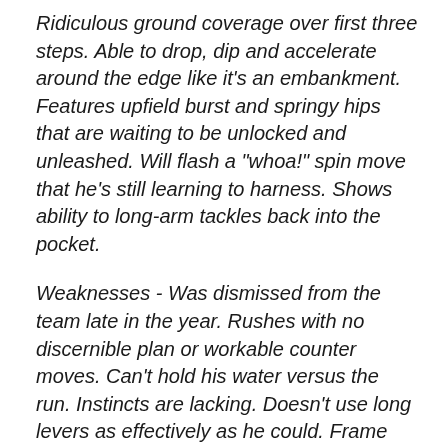Ridiculous ground coverage over first three steps. Able to drop, dip and accelerate around the edge like it's an embankment. Features upfield burst and springy hips that are waiting to be unlocked and unleashed. Will flash a "whoa!" spin move that he's still learning to harness. Shows ability to long-arm tackles back into the pocket.
Weaknesses - Was dismissed from the team late in the year. Rushes with no discernible plan or workable counter moves. Can't hold his water versus the run. Instincts are lacking. Doesn't use long levers as effectively as he could. Frame nowhere near thick enough. Has to work overtime to try and keep weight on. Suffered a foot injury in November of this season.
Bottom Line - Despite playing in less than 40 percent